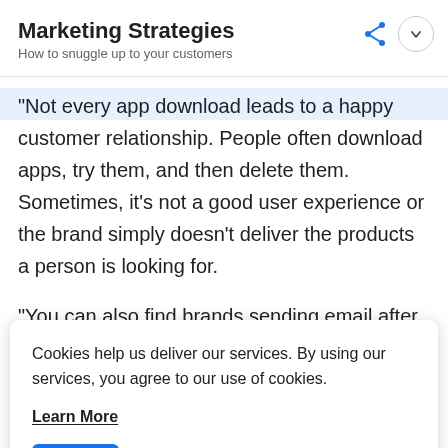Marketing Strategies
How to snuggle up to your customers
“Not every app download leads to a happy customer relationship. People often download apps, try them, and then delete them. Sometimes, it’s not a good user experience or the brand simply doesn’t deliver the products a person is looking for.
“You can also find brands sending email after email in the
Cookies help us deliver our services. By using our services, you agree to our use of cookies.

Learn More

Got It
understand the user enough to give them what they need